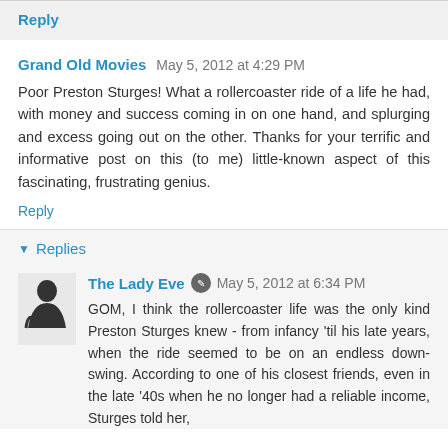Reply
Grand Old Movies  May 5, 2012 at 4:29 PM
Poor Preston Sturges! What a rollercoaster ride of a life he had, with money and success coming in on one hand, and splurging and excess going out on the other. Thanks for your terrific and informative post on this (to me) little-known aspect of this fascinating, frustrating genius.
Reply
Replies
The Lady Eve  May 5, 2012 at 6:34 PM
GOM, I think the rollercoaster life was the only kind Preston Sturges knew - from infancy 'til his late years, when the ride seemed to be on an endless down-swing. According to one of his closest friends, even in the late '40s when he no longer had a reliable income, Sturges told her,